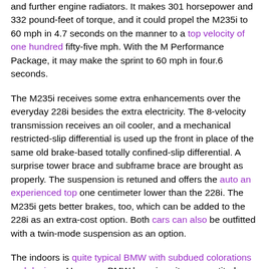and further engine radiators. It makes 301 horsepower and 332 pound-feet of torque, and it could propel the M235i to 60 mph in 4.7 seconds on the manner to a top velocity of one hundred fifty-five mph. With the M Performance Package, it may make the sprint to 60 mph in four.6 seconds.
The M235i receives some extra enhancements over the everyday 228i besides the extra electricity. The 8-velocity transmission receives an oil cooler, and a mechanical restricted-slip differential is used up the front in place of the same old brake-based totally confined-slip differential. A surprise tower brace and subframe brace are brought as properly. The suspension is retuned and offers the auto an experienced top one centimeter lower than the 228i. The M235i gets better brakes, too, which can be added to the 228i as an extra-cost option. Both cars can also be outfitted with a twin-mode suspension as an option.
The indoors is quite typical BMW with subdued colorations and designs. However, BMW has given it some aptitude inside the form